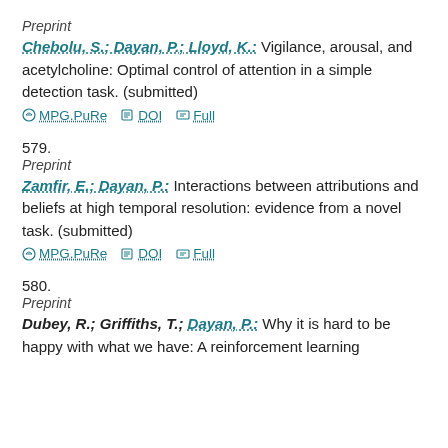Preprint
Chebolu, S.; Dayan, P.; Lloyd, K.: Vigilance, arousal, and acetylcholine: Optimal control of attention in a simple detection task. (submitted)
MPG.PuRe   DOI   Full
579.
Preprint
Zamfir, E.; Dayan, P.: Interactions between attributions and beliefs at high temporal resolution: evidence from a novel task. (submitted)
MPG.PuRe   DOI   Full
580.
Preprint
Dubey, R.; Griffiths, T.; Dayan, P.: Why it is hard to be happy with what we have: A reinforcement learning